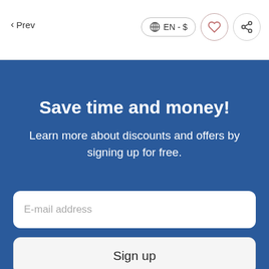< Prev   EN - $
Save time and money!
Learn more about discounts and offers by signing up for free.
E-mail address
Sign up